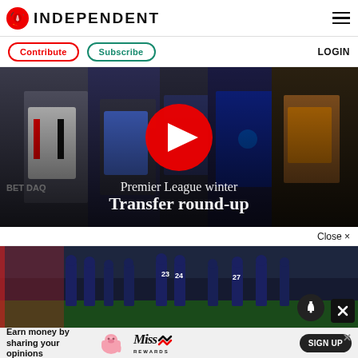INDEPENDENT
Contribute  Subscribe  LOGIN
[Figure (screenshot): Premier League winter Transfer round-up video thumbnail with play button overlay and football players in background]
Close ×
[Figure (photo): Football players standing in a line on pitch, dark stadium background, notification bell icon and X close button overlaid]
Earn money by sharing your opinions  SIGN UP